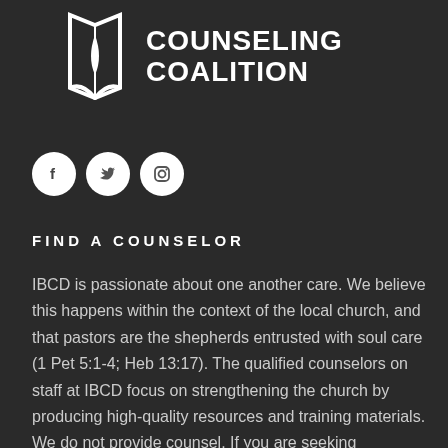[Figure (logo): IBCD Counseling Coalition logo with a book/leaf icon and bold text reading COUNSELING COALITION]
[Figure (infographic): Three social media icon buttons: Facebook, Twitter, Instagram — white circles on dark background]
FIND A COUNSELOR
IBCD is passionate about one another care. We believe this happens within the context of the local church, and that pastors are the shepherds entrusted with soul care (1 Pet 5:1-4; Heb 13:17). The qualified counselors on staff at IBCD focus on strengthening the church by producing high-quality resources and training materials. We do not provide counsel. If you are seeking counseling